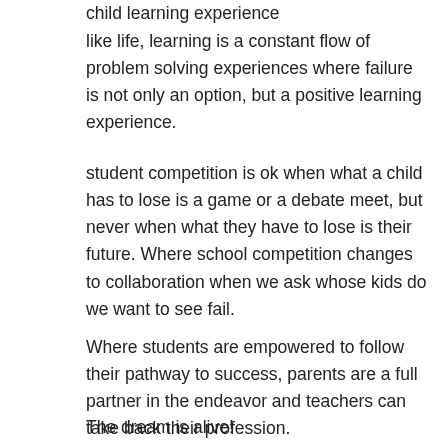child learning experience
like life, learning is a constant flow of problem solving experiences where failure is not only an option, but a positive learning experience.
student competition is ok when what a child has to lose is a game or a debate meet, but never when what they have to lose is their future. Where school competition changes to collaboration when we ask whose kids do we want to see fail.
Where students are empowered to follow their pathway to success, parents are a full partner in the endeavor and teachers can take back their profession.
The dream is alive!